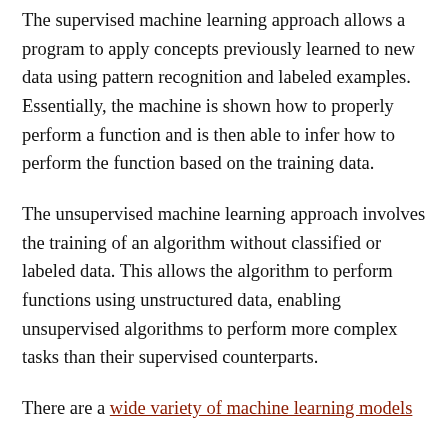The supervised machine learning approach allows a program to apply concepts previously learned to new data using pattern recognition and labeled examples. Essentially, the machine is shown how to properly perform a function and is then able to infer how to perform the function based on the training data.
The unsupervised machine learning approach involves the training of an algorithm without classified or labeled data. This allows the algorithm to perform functions using unstructured data, enabling unsupervised algorithms to perform more complex tasks than their supervised counterparts.
There are a wide variety of machine learning models